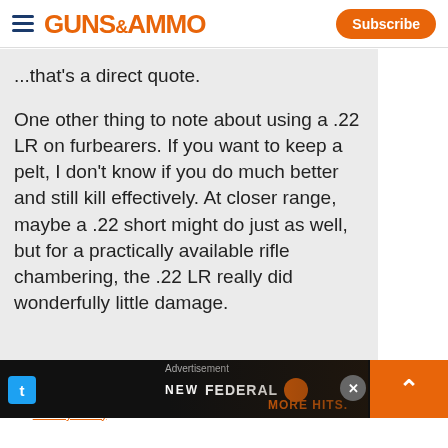GUNS&AMMO
...that's a direct quote.
One other thing to note about using a .22 LR on furbearers. If you want to keep a pelt, I don't know if you do much better and still kill effectively. At closer range, maybe a .22 short might do just as well, but for a practically available rifle chambering, the .22 LR really did wonderfully little damage.
[Figure (screenshot): Advertisement banner for Federal ammunition with text 'NEW FEDERAL' and 'MORE HITS.' on dark background with orange elements]
We use cookies to provide you with the best experience in Outdoors programming. Click accept to continue or read about our Privacy Policy.